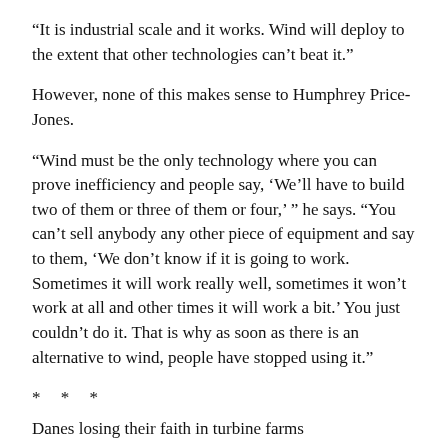“It is industrial scale and it works. Wind will deploy to the extent that other technologies can’t beat it.”
However, none of this makes sense to Humphrey Price-Jones.
“Wind must be the only technology where you can prove inefficiency and people say, ‘We’ll have to build two of them or three of them or four,’ ” he says. “You can’t sell anybody any other piece of equipment and say to them, ‘We don’t know if it is going to work. Sometimes it will work really well, sometimes it won’t work at all and other times it will work a bit.’ You just couldn’t do it. That is why as soon as there is an alternative to wind, people have stopped using it.”
* * *
Danes losing their faith in turbine farms
DENMARK, the wind power capital of the world, has found itself in the eye of a renewable energy storm. After combining its political powers and during 2000 to lift it...